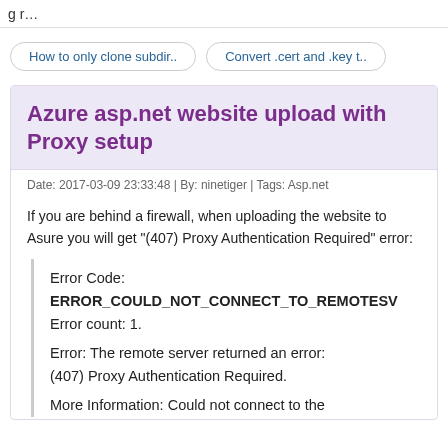g r…
How to only clone subdir..
Convert .cert and .key t..
Azure asp.net website upload with Proxy setup
Date: 2017-03-09 23:33:48 | By: ninetiger | Tags: Asp.net
If you are behind a firewall, when uploading the website to Asure you will get "(407) Proxy Authentication Required" error:
Error Code:
ERROR_COULD_NOT_CONNECT_TO_REMOTESV
Error count: 1.

Error: The remote server returned an error: (407) Proxy Authentication Required.

More Information: Could not connect to the